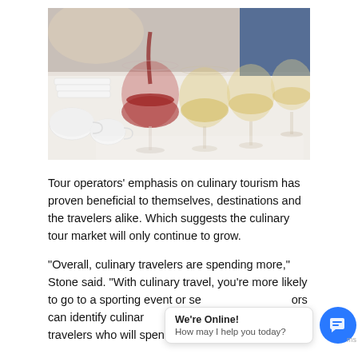[Figure (photo): Overhead view of wine glasses on a white table being filled with red wine, with white wine in other glasses and stacked white cups/bowls in the background. People partially visible.]
Tour operators’ emphasis on culinary tourism has proven beneficial to themselves, destinations and the travelers alike. Which suggests the culinary tour market will only continue to grow.
“Overall, culinary travelers are spending more,” Stone said. “With culinary travel, you’re more likely to go to a sporting event or se[...] or[s] can identify culinar[...] travelers who will spend more money.